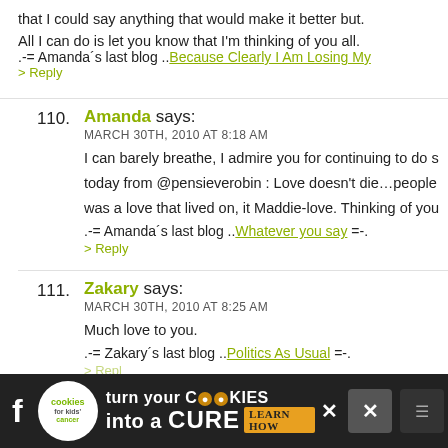that I could say anything that would make it better but. All I can do is let you know that I'm thinking of you all.
.-= Amanda's last blog ..Because Clearly I Am Losing My
> Reply
110. Amanda says: MARCH 30TH, 2010 AT 8:18 AM — I can barely breathe, I admire you for continuing to do so today from @pensieverobin : Love doesn't die...people. was a love that lived on, it Maddie-love. Thinking of you .-= Amanda's last blog ..Whatever you say =-. > Reply
111. Zakary says: MARCH 30TH, 2010 AT 8:25 AM — Much love to you. .-= Zakary's last blog ..Politics As Usual =-.
[Figure (other): Advertisement banner: cookies for kids cancer - turn your cookies into a CURE LEARN HOW, with social media icons and close buttons]